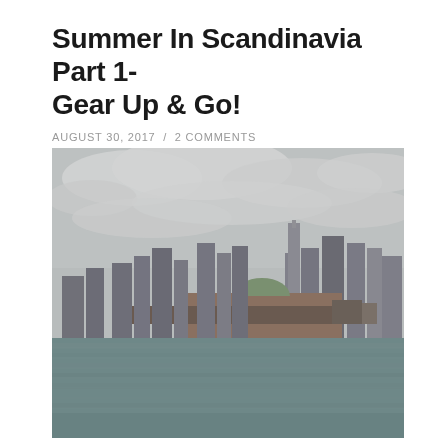Summer In Scandinavia Part 1- Gear Up & Go!
AUGUST 30, 2017 / 2 COMMENTS
[Figure (photo): City skyline viewed from water, overcast sky with clouds, large pier/pavilion structure in the foreground, tall downtown skyscrapers in the background, choppy water in the foreground. Appears to be Chicago skyline with Navy Pier.]